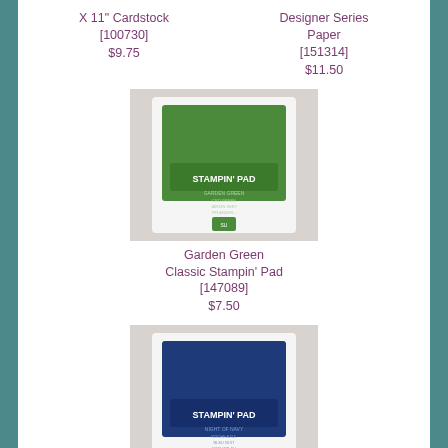X 11" Cardstock [100730]
$9.75
Designer Series Paper [151314]
$11.50
[Figure (photo): Garden Green Classic Stampin' Pad - green ink pad product photo on grey background]
Garden Green Classic Stampin' Pad [147089]
$7.50
[Figure (photo): Night Of Navy Classic Stampin' Pad - navy blue ink pad product photo on grey background]
Night Of Navy Classic Stampin' Pad [147110]
$7.50
[Figure (photo): Neutrals Stampin' Write Markers - set of neutral colored markers in black packaging on grey background]
Neutrals Stampin' Write Markers
[Figure (photo): Regals Stampin' Write Markers - set of bright colored markers in black packaging on grey background]
Regals Stampin' Write Markers